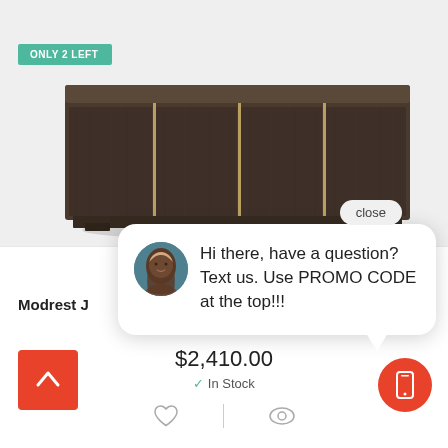[Figure (screenshot): E-commerce product page screenshot showing a dark wood sideboard/credenza with gold trim handles. Page has an 'ONLY 2 LEFT' green banner, product name 'Modrest J...', price $2,410.00, In Stock status, heart and eye icons, up-arrow red button bottom-left, phone red circle button bottom-right, and a chat popup with a woman's avatar and message 'Hi there, have a question? Text us. Use PROMO CODE at the top!!!' with a close button.]